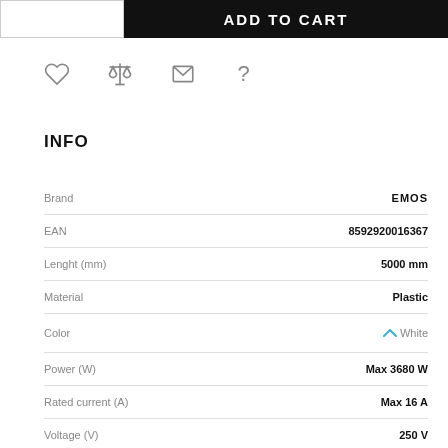[Figure (screenshot): Top bar with quantity selector on left and ADD TO CART button on right (black background)]
[Figure (infographic): Row of four icons: heart (wishlist), scales (compare), envelope (email), question mark (help)]
INFO
| Property | Value |
| --- | --- |
| Brand | EMOS |
| EAN | 8592920016367 |
| Lenght (mm) | 5000 mm |
| Material | Plastic |
| Color | White |
| Power (W) | Max 3680 W |
| Rated current (A) | Max 16 A |
| Voltage (V) | 250 V |